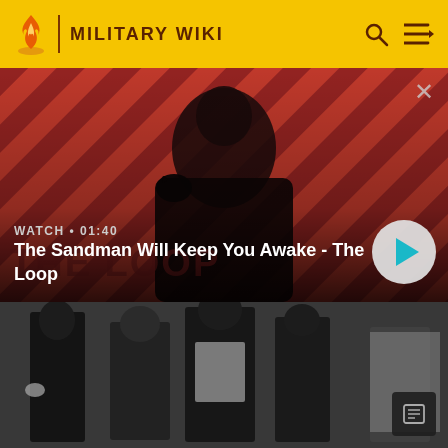MILITARY WIKI
[Figure (screenshot): Video thumbnail: person in black cloak with raven on shoulder, against red and black diagonal stripe background. Text overlay: WATCH • 01:40, The Sandman Will Keep You Awake - The Loop. Play button on right.]
[Figure (photo): Black and white photograph of several people standing, partial figures visible.]